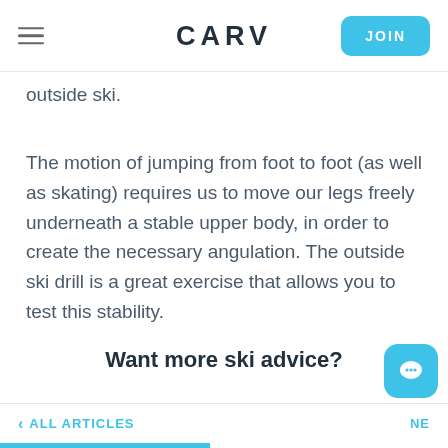CARV | JOIN
outside ski.
The motion of jumping from foot to foot (as well as skating) requires us to move our legs freely underneath a stable upper body, in order to create the necessary angulation. The outside ski drill is a great exercise that allows you to test this stability.
Want more ski advice?
< ALL ARTICLES   NE